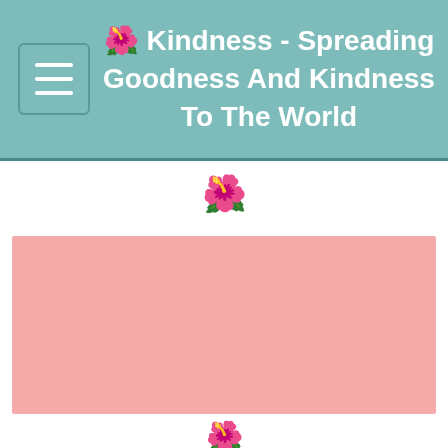🌺 Kindness - Spreading Goodness And Kindness To The World
[Figure (illustration): Hibiscus flower emoji icon centered below the header]
[Figure (illustration): Large pink/salmon colored rectangular block]
[Figure (illustration): Hibiscus flower emoji icon centered below the pink block]